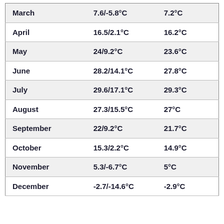| March | 7.6/-5.8°C | 7.2°C |
| April | 16.5/2.1°C | 16.2°C |
| May | 24/9.2°C | 23.6°C |
| June | 28.2/14.1°C | 27.8°C |
| July | 29.6/17.1°C | 29.3°C |
| August | 27.3/15.5°C | 27°C |
| September | 22/9.2°C | 21.7°C |
| October | 15.3/2.2°C | 14.9°C |
| November | 5.3/-6.7°C | 5°C |
| December | -2.7/-14.6°C | -2.9°C |